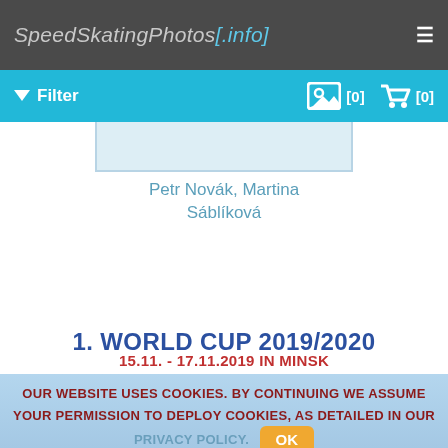SpeedSkatingPhotos[.info]
Filter [0] [0]
[Figure (photo): Partial photo placeholder with blue-grey background]
Petr Novák, Martina Sáblíková
1. WORLD CUP 2019/2020
15.11. - 17.11.2019 IN MINSK
OUR WEBSITE USES COOKIES. BY CONTINUING WE ASSUME YOUR PERMISSION TO DEPLOY COOKIES, AS DETAILED IN OUR PRIVACY POLICY. OK